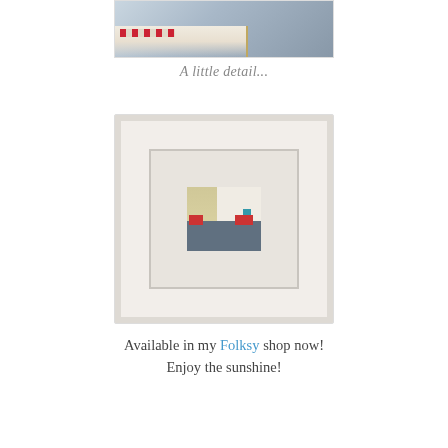[Figure (photo): Close-up detail of a textile/fabric artwork showing woven or embroidered material with stripes and patterns in grey, cream and red tones]
A little detail...
[Figure (photo): A framed textile artwork showing a row of colourful houses/buildings in a naive folk-art style, with a red-roofed centre house, teal door, and adjacent buildings in pale and blue tones, set in a white frame against a light background]
Available in my Folksy shop now!
Enjoy the sunshine!